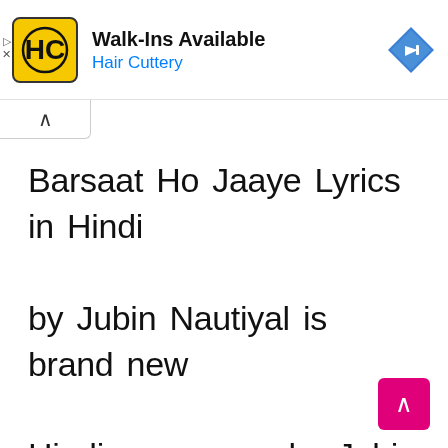[Figure (screenshot): Hair Cuttery advertisement banner with yellow HC logo, 'Walk-Ins Available' text, 'Hair Cuttery' subtitle in blue, and a blue navigation diamond icon on the right]
Barsaat Ho Jaaye Lyrics in Hindi by Jubin Nautiyal is brand new Hindi song sung by Jubin Nautiyal and Payal Dev.